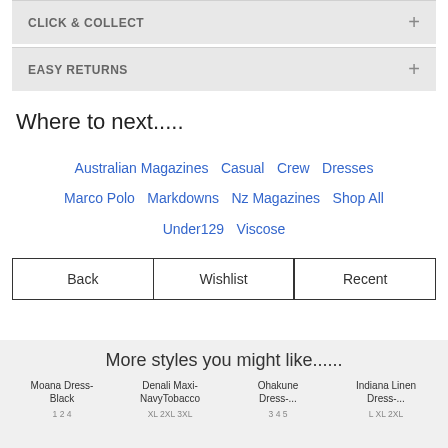CLICK & COLLECT
EASY RETURNS
Where to next.....
Australian Magazines  Casual  Crew  Dresses  Marco Polo  Markdowns  Nz Magazines  Shop All  Under129  Viscose
Back  Wishlist  Recent
More styles you might like......
Moana Dress-Black  1 2 4
Denali Maxi-NavyTobacco  XL 2XL 3XL
Ohakune Dress-...  3 4 5
Indiana Linen Dress-...  L XL 2XL